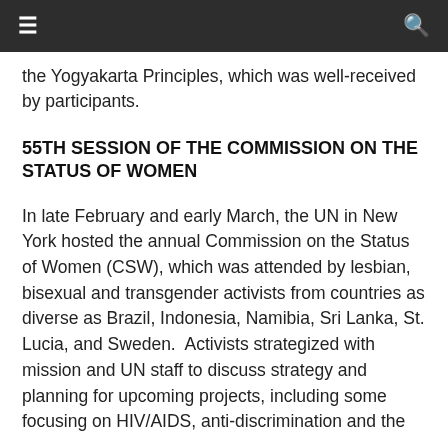≡  🔍
the Yogyakarta Principles, which was well-received by participants.
55TH SESSION OF THE COMMISSION ON THE STATUS OF WOMEN
In late February and early March, the UN in New York hosted the annual Commission on the Status of Women (CSW), which was attended by lesbian, bisexual and transgender activists from countries as diverse as Brazil, Indonesia, Namibia, Sri Lanka, St. Lucia, and Sweden.  Activists strategized with mission and UN staff to discuss strategy and planning for upcoming projects, including some focusing on HIV/AIDS, anti-discrimination and the